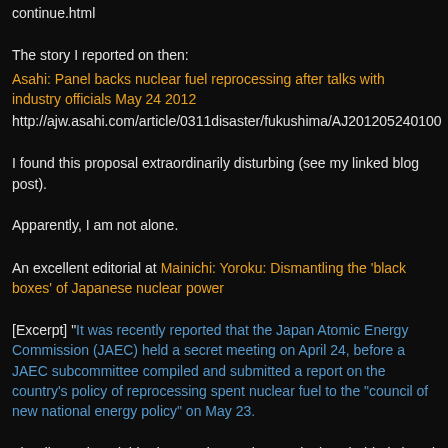continue.html
The story I reported on then:
Asahi: Panel backs nuclear fuel reprocessing after talks with industry officials May 24 2012
http://ajw.asahi.com/article/0311disaster/fukushima/AJ201205240100
I found this proposal extraordinarily disturbing (see my linked blog post).
Apparently, I am not alone.
An excellent editorial at Mainichi: Yoroku: Dismantling the 'black boxes' of Japanese nuclear power
[Excerpt] "It was recently reported that the Japan Atomic Energy Commission (JAEC) held a secret meeting on April 24, before a JAEC subcommittee compiled and submitted a report on the country's policy of reprocessing spent nuclear fuel to the "council of new national energy policy" on May 23.
The discussion, dubbed a 1study meeting,' took place behind closed